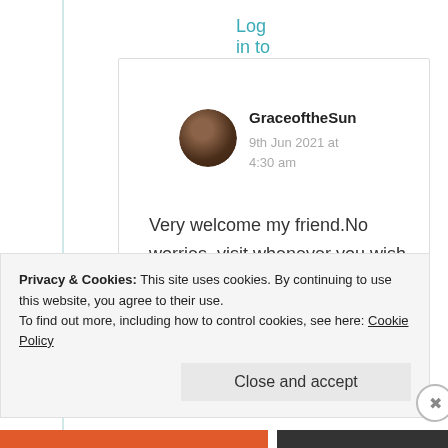Log in to Reply
[Figure (photo): Circular avatar photo of GraceoftheSun, showing a person with dark hair]
GraceoftheSun
9th Jun 2021 at 4:30 am
Very welcome my friend.No worries, visit whenever you wish or
Privacy & Cookies: This site uses cookies. By continuing to use this website, you agree to their use.
To find out more, including how to control cookies, see here: Cookie Policy
Close and accept